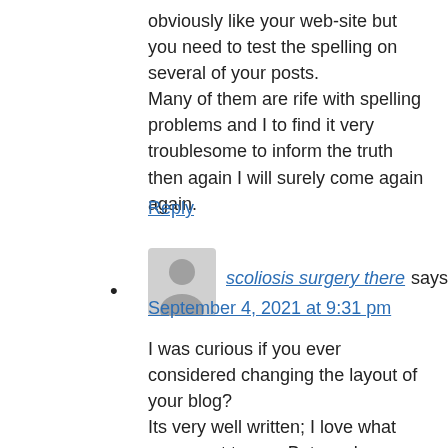obviously like your web-site but you need to test the spelling on several of your posts. Many of them are rife with spelling problems and I to find it very troublesome to inform the truth then again I will surely come again again.
Reply
[Figure (illustration): Generic user avatar icon - grey silhouette of a person]
scoliosis surgery there says:
September 4, 2021 at 9:31 pm
I was curious if you ever considered changing the layout of your blog? Its very well written; I love what youve got to say. But maybe you could a little more in the way of content so people could connect with it better. Youve got an awful lot of text for only